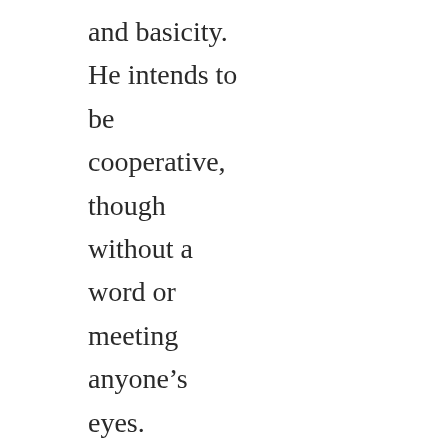and basicity. He intends to be cooperative, though without a word or meeting anyone's eyes.

He lets his group decide whether the mystery